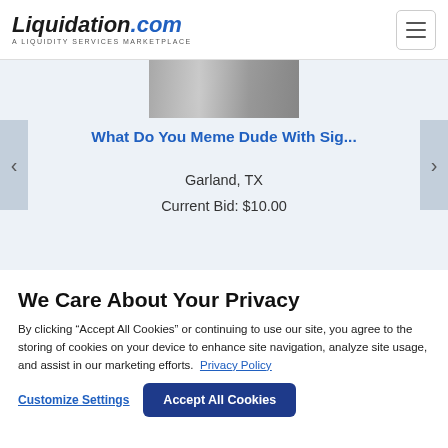Liquidation.com — A LIQUIDITY SERVICES MARKETPLACE
[Figure (screenshot): Partial product image in carousel at top of page]
What Do You Meme Dude With Sig...
Garland, TX
Current Bid: $10.00
We Care About Your Privacy
By clicking “Accept All Cookies” or continuing to use our site, you agree to the storing of cookies on your device to enhance site navigation, analyze site usage, and assist in our marketing efforts. Privacy Policy
Customize Settings
Accept All Cookies